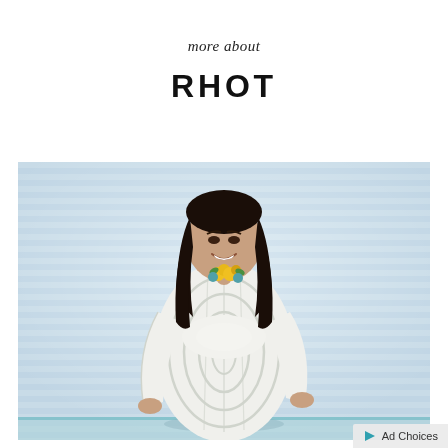more about
RHOT
[Figure (photo): A woman with long dark hair smiling and wearing a white bodycon dress with curved stripe pattern and a yellow floral necklace, standing on a light blue/white striped background stage.]
Ad Choices